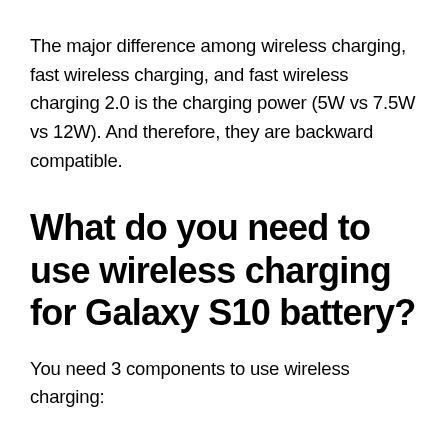The major difference among wireless charging, fast wireless charging, and fast wireless charging 2.0 is the charging power (5W vs 7.5W vs 12W). And therefore, they are backward compatible.
What do you need to use wireless charging for Galaxy S10 battery?
You need 3 components to use wireless charging: